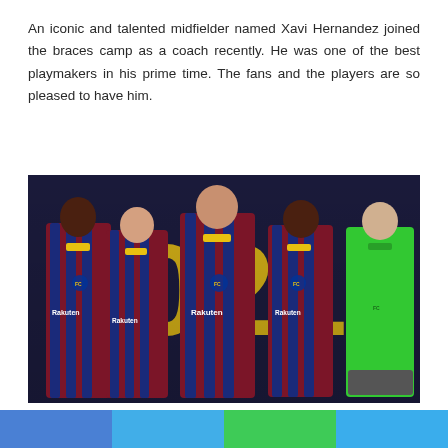An iconic and talented midfielder named Xavi Hernandez joined the braces camp as a coach recently. He was one of the best playmakers in his prime time. The fans and the players are so pleased to have him.
[Figure (photo): Five FC Barcelona football players posing in their 2020/21 blue and red striped jerseys with Rakuten sponsor, against a dark background with large yellow numbers. One player on the right wears a green goalkeeper kit.]
Many football specialists all over the world believe that...